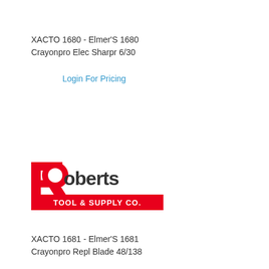XACTO 1680 - Elmer'S 1680
Crayonpro Elec Sharpr 6/30
Login For Pricing
[Figure (logo): Roberts Tool & Supply Co. logo with large red R and red text]
XACTO 1681 - Elmer'S 1681
Crayonpro Repl Blade 48/138